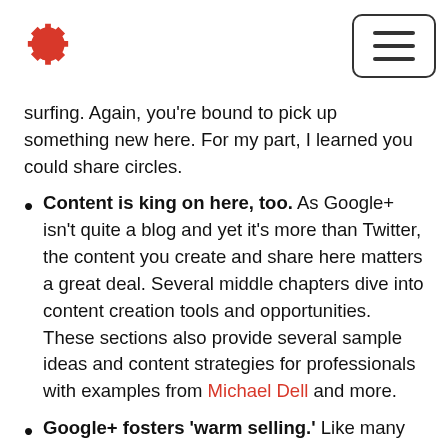[Gear logo and hamburger menu button]
surfing. Again, you're bound to pick up something new here. For my part, I learned you could share circles.
Content is king on here, too. As Google+ isn't quite a blog and yet it's more than Twitter, the content you create and share here matters a great deal. Several middle chapters dive into content creation tools and opportunities. These sections also provide several sample ideas and content strategies for professionals with examples from Michael Dell and more.
Google+ fosters 'warm selling.' Like many networks, Google+ allows you to get to know your community before they're in-market so that they are already a warm lead when they are ready. Brogan also reminds us that with